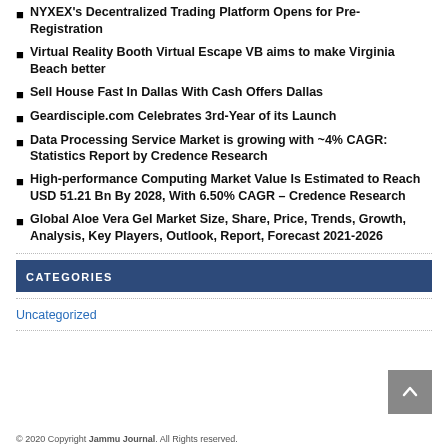NYXEX's Decentralized Trading Platform Opens for Pre-Registration
Virtual Reality Booth Virtual Escape VB aims to make Virginia Beach better
Sell House Fast In Dallas With Cash Offers Dallas
Geardisciple.com Celebrates 3rd-Year of its Launch
Data Processing Service Market is growing with ~4% CAGR: Statistics Report by Credence Research
High-performance Computing Market Value Is Estimated to Reach USD 51.21 Bn By 2028, With 6.50% CAGR – Credence Research
Global Aloe Vera Gel Market Size, Share, Price, Trends, Growth, Analysis, Key Players, Outlook, Report, Forecast 2021-2026
CATEGORIES
Uncategorized
© 2020 Copyright Jammu Journal. All Rights reserved.